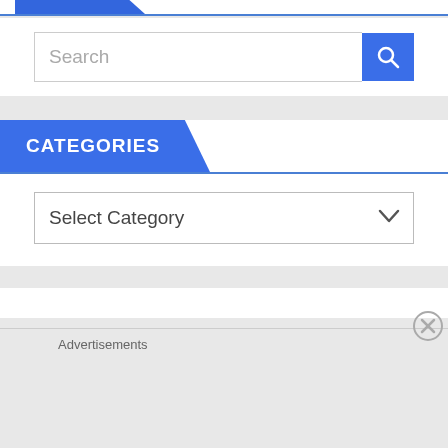[Figure (screenshot): Blue decorative top bar with diagonal blue shape on white background]
[Figure (screenshot): Search input field with 'Search' placeholder text and blue search button with magnifying glass icon]
CATEGORIES
[Figure (screenshot): Dropdown select element with 'Select Category' placeholder and chevron arrow]
Advertisements
REPORT THIS AD